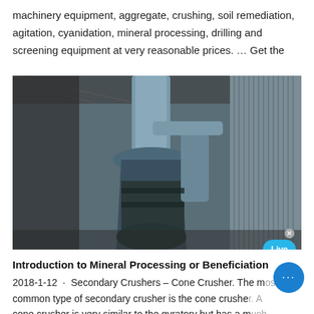machinery equipment, aggregate, crushing, soil remediation, agitation, cyanidation, mineral processing, drilling and screening equipment at very reasonable prices. … Get the
[Figure (photo): Industrial mineral processing machinery — a large blue cone/gyratory crusher and associated ductwork and equipment inside an industrial building.]
Introduction to Mineral Processing or Beneficiation
2018-1-12 · Secondary Crushers – Cone Crusher. The most common type of secondary crusher is the cone crusher. A cone crusher is very similar to the gyratory but has a much shorter spindle with a larger diameter crushing surface